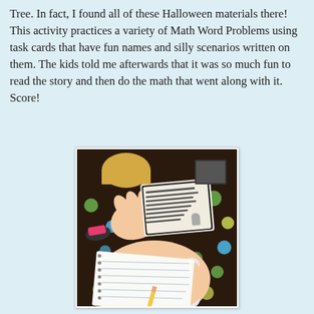Tree. In fact, I found all of these Halloween materials there! This activity practices a variety of Math Word Problems using task cards that have fun names and silly scenarios written on them. The kids told me afterwards that it was so much fun to read the story and then do the math that went along with it. Score!
[Figure (photo): A child holding a Halloween math word problem task card over a notebook, writing with a pencil. The floor has a colorful polka-dot pattern.]